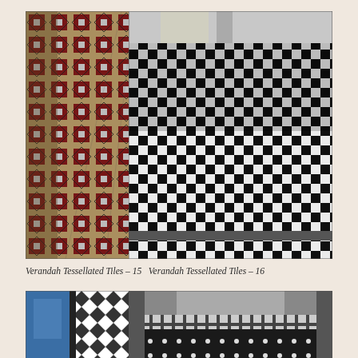[Figure (photo): Verandah tessellated tile pathway with geometric diamond and cross pattern in red, black, cream and blue colours, viewed from above looking down a long narrow verandah]
[Figure (photo): Verandah tessellated tile pathway with bold black and white checkerboard pattern, viewed from above looking down a wide verandah]
Verandah Tessellated Tiles – 15   Verandah Tessellated Tiles – 16
[Figure (photo): Verandah tessellated tile floor with small black and white diamond checkerboard pattern at doorway entrance, with blue door visible]
[Figure (photo): Verandah tessellated tile floor with black tiles and small white dot/star accent pattern, dark overall with white geometric border]
Verandah Tessellated Tiles – 17   Verandah Tessellated Tiles – 18